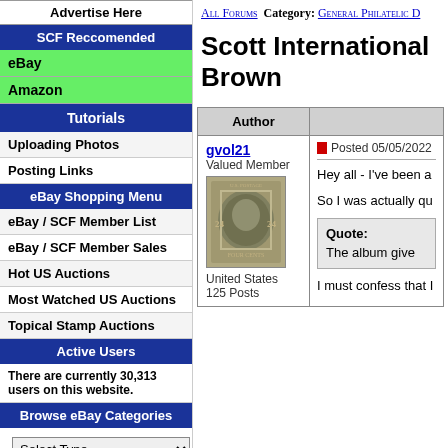Advertise Here
SCF Reccomended
eBay
Amazon
Tutorials
Uploading Photos
Posting Links
eBay Shopping Menu
eBay / SCF Member List
eBay / SCF Member Sales
Hot US Auctions
Most Watched US Auctions
Topical Stamp Auctions
Active Users
There are currently 30,313 users on this website.
Browse eBay Categories
Select Type
Donations
Donate
All Forums  Category: General Philatelic
Scott International Brown
| Author |  |
| --- | --- |
| gvol21
Valued Member
[stamp image]
United States
125 Posts | Posted 05/05/2022
Hey all - I've been a

So I was actually qu

Quote:
The album give

I must confess that I |